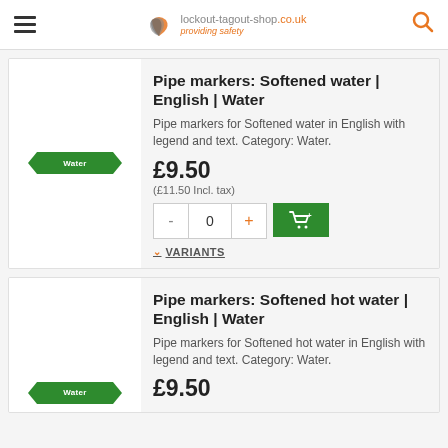lockout-tagout-shop.co.uk — providing safety
Pipe markers: Softened water | English | Water
Pipe markers for Softened water in English with legend and text. Category: Water.
£9.50
(£11.50 Incl. tax)
VARIANTS
Pipe markers: Softened hot water | English | Water
Pipe markers for Softened hot water in English with legend and text. Category: Water.
£9.50